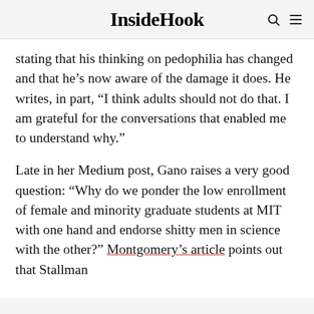InsideHook
stating that his thinking on pedophilia has changed and that he’s now aware of the damage it does. He writes, in part, “I think adults should not do that. I am grateful for the conversations that enabled me to understand why.”
Late in her Medium post, Gano raises a very good question: “Why do we ponder the low enrollment of female and minority graduate students at MIT with one hand and endorse shitty men in science with the other?” Montgomery’s article points out that Stallman